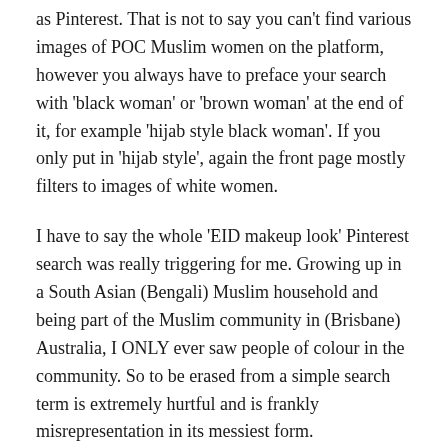as Pinterest. That is not to say you can't find various images of POC Muslim women on the platform, however you always have to preface your search with 'black woman' or 'brown woman' at the end of it, for example 'hijab style black woman'. If you only put in 'hijab style', again the front page mostly filters to images of white women.
I have to say the whole 'EID makeup look' Pinterest search was really triggering for me. Growing up in a South Asian (Bengali) Muslim household and being part of the Muslim community in (Brisbane) Australia, I ONLY ever saw people of colour in the community. So to be erased from a simple search term is extremely hurtful and is frankly misrepresentation in its messiest form.
With all that said and done, I do want to shift the focus and showcase/introduce you to some of my favourite Muslim women of colour in the beauty and creative spaces.